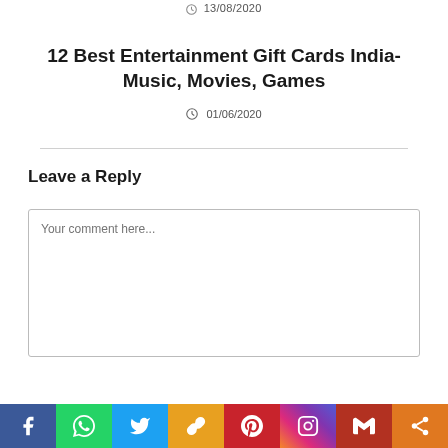13/08/2020
12 Best Entertainment Gift Cards India- Music, Movies, Games
01/06/2020
Leave a Reply
Your comment here...
[Figure (other): Social sharing bar with Facebook, WhatsApp, Twitter, Link, Pinterest, Instagram, Gmail, and Share buttons]